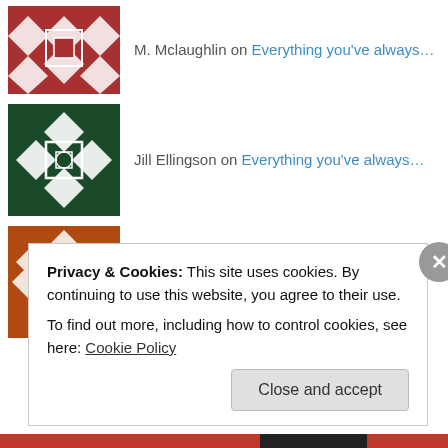M. Mclaughlin on Everything you've always…
Jill Ellingson on Everything you've always…
Simon H on Everything you've always…
Rose on Everything you've always…
jess on Everything you've always…
Privacy & Cookies: This site uses cookies. By continuing to use this website, you agree to their use. To find out more, including how to control cookies, see here: Cookie Policy
Close and accept